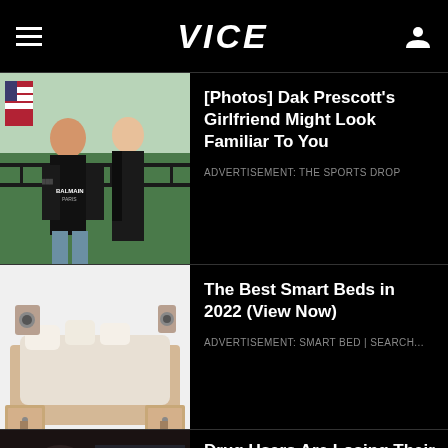VICE
[Photos] Dak Prescott's Girlfriend Might Look Familiar To You
ADVERTISEMENT: THE SPORTS DROP
[Figure (photo): Man in black Balmain shirt and woman in black dress standing outdoors with American flag in background]
The Best Smart Beds in 2022 (View Now)
ADVERTISEMENT: SMART BED | SEARCH...
[Figure (photo): Smart bed with storage drawers and extended features on white background]
Drug Users Are Losing Their Fingers and Toes After
[Figure (photo): Dark scene inside a vehicle showing people]